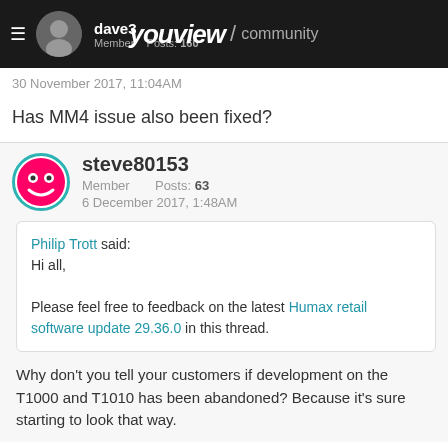dave3 | Member | Posts: 160 | youview / community
30 November 2017, 11:04AM
Has MM4 issue also been fixed?
steve80153
Member   Posts: 63
6 December 2017, 1:48AM
Philip Trott said:
Hi all,

Please feel free to feedback on the latest Humax retail software update 29.36.0 in this thread.
Why don't you tell your customers if development on the T1000 and T1010 has been abandoned?  Because it's sure starting to look that way.